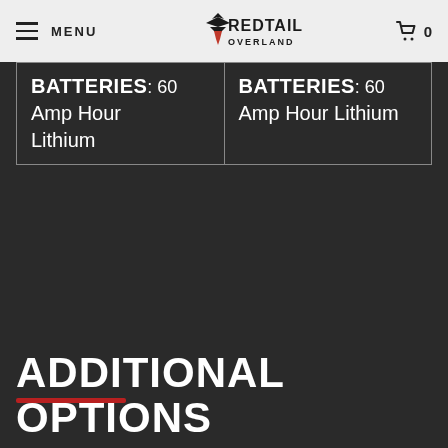MENU | REDTAIL OVERLAND | 0
| BATTERIES: 60 Amp Hour Lithium | BATTERIES: 60 Amp Hour Lithium |
| --- | --- |
ADDITIONAL OPTIONS - SELECT AT CHECKOUT